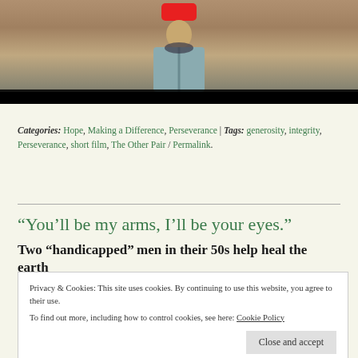[Figure (photo): Screenshot of a video player showing a young man in a light blue t-shirt with a dark collar, with a red play button overlay at top center and a black video control bar at the bottom.]
Categories: Hope, Making a Difference, Perseverance | Tags: generosity, integrity, Perseverance, short film, The Other Pair / Permalink.
“You’ll be my arms, I’ll be your eyes.”
Two “handicapped” men in their 50s help heal the earth
Privacy & Cookies: This site uses cookies. By continuing to use this website, you agree to their use.
To find out more, including how to control cookies, see here: Cookie Policy
But I’m so glad I watched this.